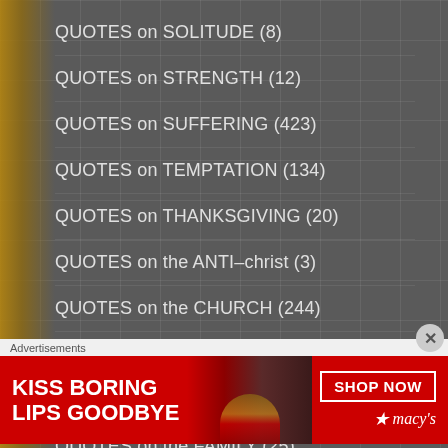QUOTES on SOLITUDE (8)
QUOTES on STRENGTH (12)
QUOTES on SUFFERING (423)
QUOTES on TEMPTATION (134)
QUOTES on THANKSGIVING (20)
QUOTES on the ANTI-christ (3)
QUOTES on the CHURCH (244)
QUOTES on the CROSS of CHRIST (441)
QUOTES on the DEVIL/EVIL (169)
QUOTES on the FAMILY (25)
QUOTES on The HUMAN SOUL (23)
Advertisements
[Figure (photo): Macy's advertisement banner showing a woman with red lips. Text reads: KISS BORING LIPS GOODBYE with SHOP NOW button and macy's logo.]